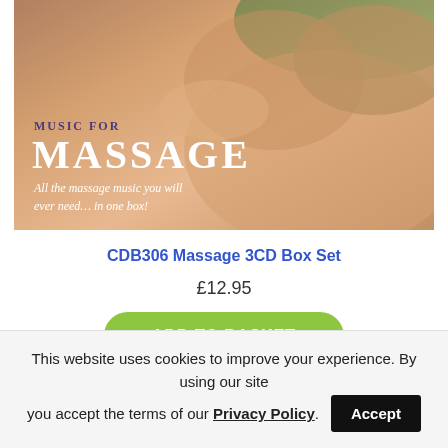[Figure (photo): Product photo of a massage music CD box set — woman receiving a back massage, with overlay text: MUSIC FOR MASSAGE, All the massage music you will ever need… in one box!]
CDB306 Massage 3CD Box Set
£12.95
ADD TO BASKET
This website uses cookies to improve your experience. By using our site you accept the terms of our Privacy Policy.
Accept